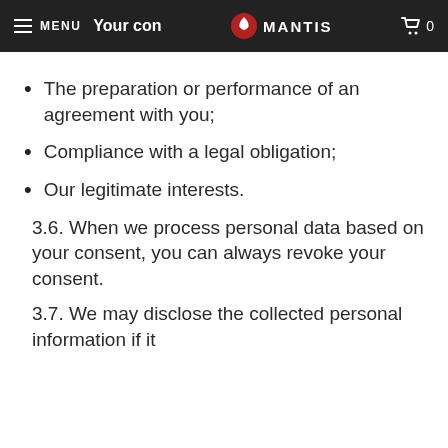MENU  MANTIS  Your con  0
The preparation or performance of an agreement with you;
Compliance with a legal obligation;
Our legitimate interests.
3.6. When we process personal data based on your consent, you can always revoke your consent.
3.7. We may disclose the collected personal information if it